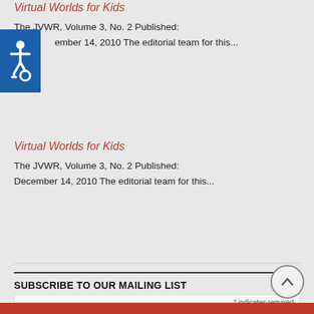Virtual Worlds for Kids
The JVWR, Volume 3, No. 2 Published: ember 14, 2010 The editorial team for this...
[Figure (other): Accessibility icon - wheelchair symbol on blue background]
Virtual Worlds for Kids
The JVWR, Volume 3, No. 2 Published: December 14, 2010 The editorial team for this...
SUBSCRIBE TO OUR MAILING LIST
* indicates required
Email Address *